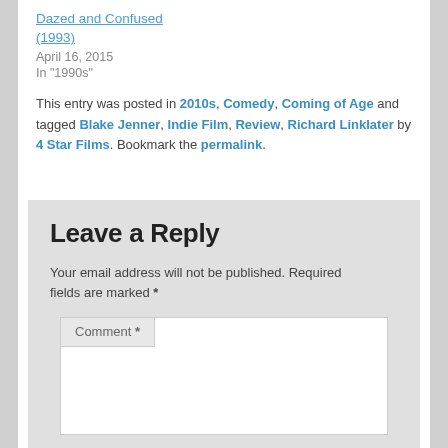Dazed and Confused (1993)
April 16, 2015
In "1990s"
This entry was posted in 2010s, Comedy, Coming of Age and tagged Blake Jenner, Indie Film, Review, Richard Linklater by 4 Star Films. Bookmark the permalink.
Leave a Reply
Your email address will not be published. Required fields are marked *
Comment *